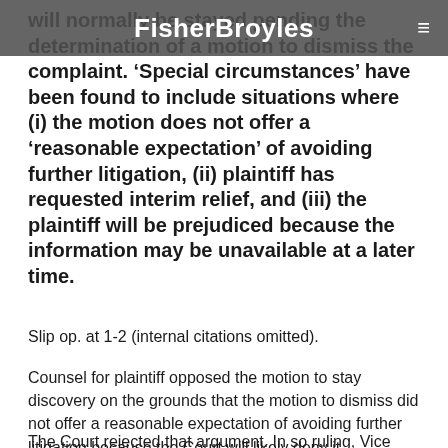FisherBroyles
will normally be stayed pending the determination of a motion to dismiss the complaint. 'Special circumstances' have been found to include situations where (i) the motion does not offer a 'reasonable expectation' of avoiding further litigation, (ii) plaintiff has requested interim relief, and (iii) the plaintiff will be prejudiced because the information may be unavailable at a later time.
Slip op. at 1-2 (internal citations omitted).
Counsel for plaintiff opposed the motion to stay discovery on the grounds that the motion to dismiss did not offer a reasonable expectation of avoiding further litigation because the Court will likely deny it.
The Court rejected that argument. In so ruling, Vice